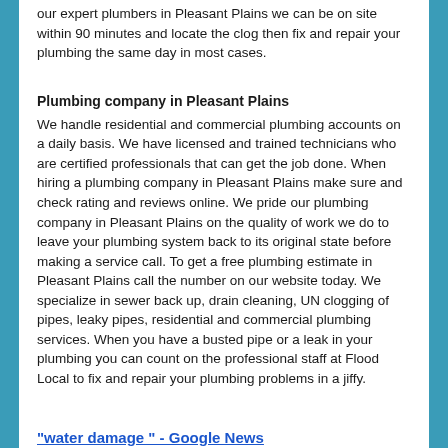our expert plumbers in Pleasant Plains we can be on site within 90 minutes and locate the clog then fix and repair your plumbing the same day in most cases.
Plumbing company in Pleasant Plains
We handle residential and commercial plumbing accounts on a daily basis. We have licensed and trained technicians who are certified professionals that can get the job done. When hiring a plumbing company in Pleasant Plains make sure and check rating and reviews online. We pride our plumbing company in Pleasant Plains on the quality of work we do to leave your plumbing system back to its original state before making a service call. To get a free plumbing estimate in Pleasant Plains call the number on our website today. We specialize in sewer back up, drain cleaning, UN clogging of pipes, leaky pipes, residential and commercial plumbing services. When you have a busted pipe or a leak in your plumbing you can count on the professional staff at Flood Local to fix and repair your plumbing problems in a jiffy.
"water damage " - Google News